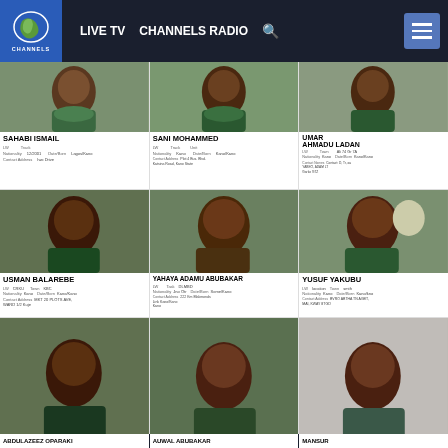LIVE TV  CHANNELS RADIO  [search]  [menu]
[Figure (photo): Grid of wanted persons ID cards showing mugshot photos with names: SAHABI ISMAIL, SANI MOHAMMED, UMAR AHMADU LADAN, USMAN BALAREBE, YAHAYA ADAMU ABUBAKAR, YUSUF YAKUBU, ABDULAZEEZ OPARAKI (partial), AUWAL ABUBAKAR (partial), MANSUR (partial)]
SAHABI ISMAIL
SANI MOHAMMED
UMAR AHMADU LADAN
USMAN BALAREBE
YAHAYA ADAMU ABUBAKAR
YUSUF YAKUBU
ABDULAZEEZ OPARAKI
AUWAL ABUBAKAR
MANSUR